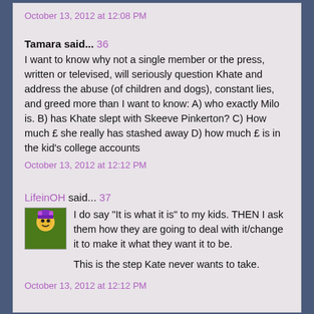October 13, 2012 at 12:08 PM
Tamara said... 36
I want to know why not a single member or the press, written or televised, will seriously question Khate and address the abuse (of children and dogs), constant lies, and greed more than I want to know: A) who exactly Milo is. B) has Khate slept with Skeeve Pinkerton? C) How much £ she really has stashed away D) how much £ is in the kid's college accounts
October 13, 2012 at 12:12 PM
LifeinOH said... 37
I do say "It is what it is" to my kids. THEN I ask them how they are going to deal with it/change it to make it what they want it to be.

This is the step Kate never wants to take.
October 13, 2012 at 12:12 PM